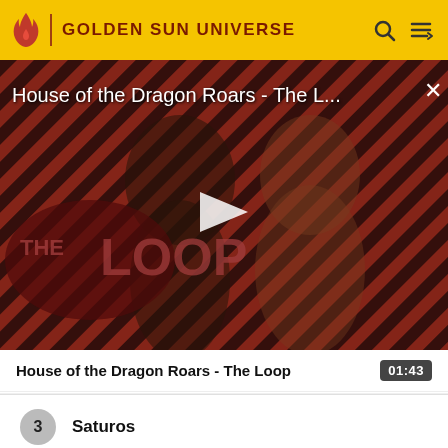GOLDEN SUN UNIVERSE
[Figure (screenshot): Video thumbnail for 'House of the Dragon Roars - The Loop' showing two medieval-fantasy costumed characters against a red-and-black diagonal stripe background with 'THE LOOP' text overlay and a play button in the center.]
House of the Dragon Roars - The L...
House of the Dragon Roars - The Loop  01:43
3  Saturos